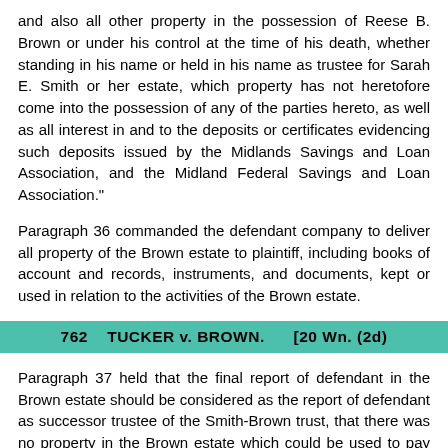and also all other property in the possession of Reese B. Brown or under his control at the time of his death, whether standing in his name or held in his name as trustee for Sarah E. Smith or her estate, which property has not heretofore come into the possession of any of the parties hereto, as well as all interest in and to the deposits or certificates evidencing such deposits issued by the Midlands Savings and Loan Association, and the Midland Federal Savings and Loan Association."
Paragraph 36 commanded the defendant company to deliver all property of the Brown estate to plaintiff, including books of account and records, instruments, and documents, kept or used in relation to the activities of the Brown estate.
762    TUCKER v. BROWN.      [20 Wn. (2d)
Paragraph 37 held that the final report of defendant in the Brown estate should be considered as the report of defendant as successor trustee of the Smith-Brown trust, that there was no property in the Brown estate which could be used to pay the creditors of Reese B. Brown, and that there was no property for distribution to his heirs.
Paragraph 38 provided for the enforcement of the decree.
Paragraph 39 closed the Brown estate.
Paragraph 40 directed an accounting of all property of all...